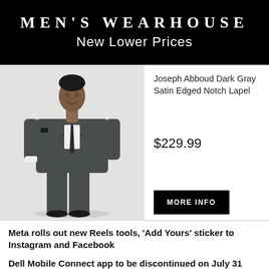MEN'S WEARHOUSE
New Lower Prices
[Figure (photo): Man in dark gray suit, white shirt, and black tie, wearing the Joseph Abboud Dark Gray Satin Edged Notch Lapel suit, posed walking forward]
Joseph Abboud Dark Gray Satin Edged Notch Lapel
$229.99
MORE INFO
Meta rolls out new Reels tools, 'Add Yours' sticker to Instagram and Facebook
Dell Mobile Connect app to be discontinued on July 31
LC S4: all the latest information about the upcoming Korean